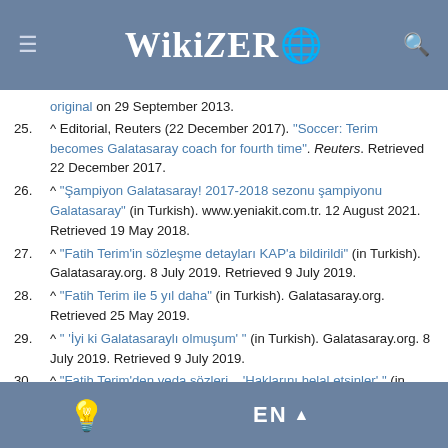WikiZero
25. ^ Editorial, Reuters (22 December 2017). "Soccer: Terim becomes Galatasaray coach for fourth time". Reuters. Retrieved 22 December 2017.
26. ^ "Şampiyon Galatasaray! 2017-2018 sezonu şampiyonu Galatasaray" (in Turkish). www.yeniakit.com.tr. 12 August 2021. Retrieved 19 May 2018.
27. ^ "Fatih Terim'in sözleşme detayları KAP'a bildirildi" (in Turkish). Galatasaray.org. 8 July 2019. Retrieved 9 July 2019.
28. ^ "Fatih Terim ile 5 yıl daha" (in Turkish). Galatasaray.org. Retrieved 25 May 2019.
29. ^ " 'İyi ki Galatasaraylı olmuşum' " (in Turkish). Galatasaray.org. 8 July 2019. Retrieved 9 July 2019.
30. ^ "Fatih Terim'den veda sözleri... 'Haklarını helal etsinler' " (in Turkish). www.sozcu.com.tr. 5 May 2021. Retrieved 5 May 2021.
EN